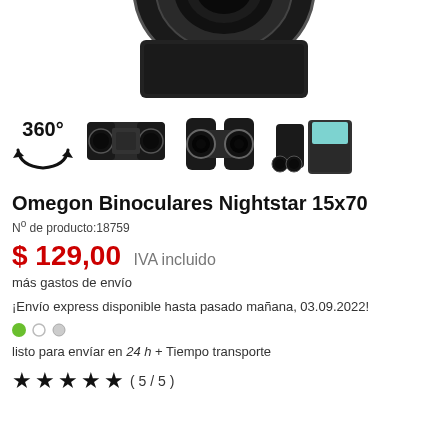[Figure (photo): Close-up top view of binocular lenses, partially cropped at top of page]
[Figure (photo): Row of product thumbnail images: 360° icon, two side-view binocular photos, one front-view binocular photo, one binocular with carrying case photo]
Omegon Binoculares Nightstar 15x70
Nº de producto:18759
$ 129,00 IVA incluido
más gastos de envío
¡Envío express disponible hasta pasado mañana, 03.09.2022!
listo para envíar en 24 h + Tiempo transporte
★★★★★ ( 5 / 5 )